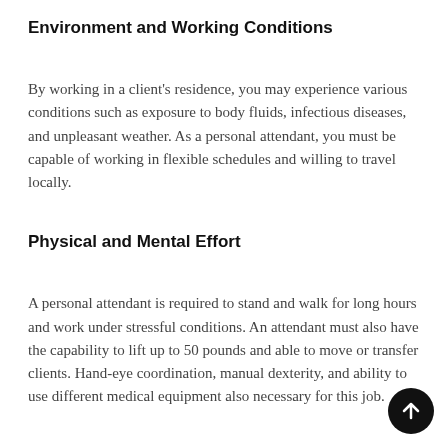Environment and Working Conditions
By working in a client’s residence, you may experience various conditions such as exposure to body fluids, infectious diseases, and unpleasant weather. As a personal attendant, you must be capable of working in flexible schedules and willing to travel locally.
Physical and Mental Effort
A personal attendant is required to stand and walk for long hours and work under stressful conditions. An attendant must also have the capability to lift up to 50 pounds and able to move or transfer clients. Hand-eye coordination, manual dexterity, and ability to use different medical equipment also necessary for this job.